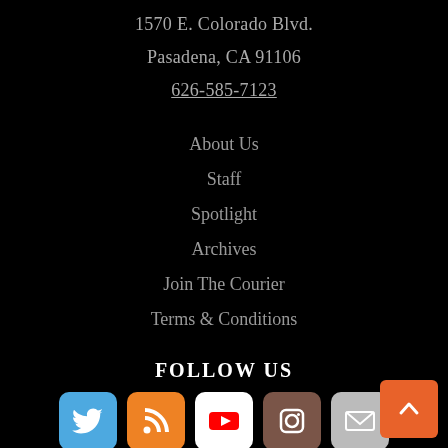1570 E. Colorado Blvd.
Pasadena, CA 91106
626-585-7123
About Us
Staff
Spotlight
Archives
Join The Courier
Terms & Conditions
FOLLOW US
[Figure (illustration): Social media icons row: Twitter (blue bird), RSS (orange), YouTube (white/red), Instagram (brown camera), Mail (gray envelope)]